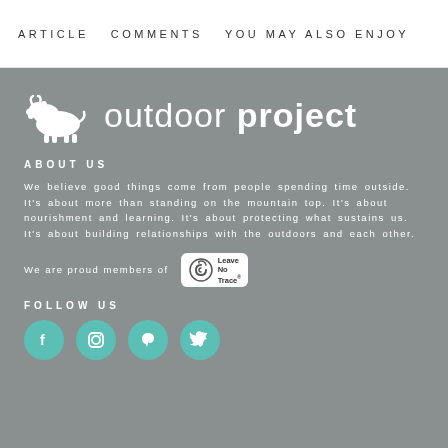ARTICLE    COMMENTS    YOU MAY ALSO ENJOY
[Figure (logo): Outdoor Project logo with white bison icon and text 'outdoor project' on grey background]
ABOUT US
We believe good things come from people spending time outside. It's about more than standing on the mountain top. It's about nourishment and learning. It's about protecting what sustains us. It's about building relationships with the outdoors and each other.
We are proud members of [Leave No Trace logo]
FOLLOW US
[Figure (infographic): Four social media icons: Facebook, Instagram, Pinterest, Twitter in teal circles]